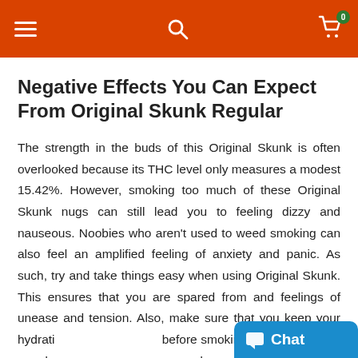Navigation bar with hamburger menu, search icon, and cart icon with badge 0
Negative Effects You Can Expect From Original Skunk Regular
The strength in the buds of this Original Skunk is often overlooked because its THC level only measures a modest 15.42%. However, smoking too much of these Original Skunk nugs can still lead you to feeling dizzy and nauseous. Noobies who aren't used to weed smoking can also feel an amplified feeling of anxiety and panic. As such, try and take things easy when using Original Skunk. This ensures that you are spared from and feelings of unease and tension. Also, make sure that you keep your hydration before smoking in order to avoid any d and